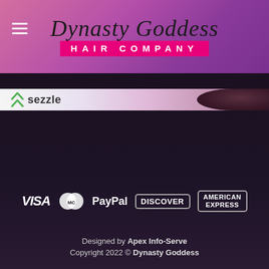[Figure (logo): Dynasty Goddess Hair Company logo with script text and pink bar]
[Figure (screenshot): Sezzle payment banner strip with logo and hair image]
[Figure (infographic): Payment method icons: VISA, MasterCard, PayPal, Discover, American Express]
Designed by Apex Info-Serve
Copyright 2022 © Dynasty Goddess